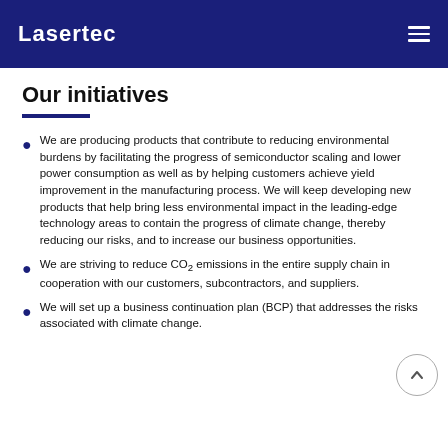Lasertec
Our initiatives
We are producing products that contribute to reducing environmental burdens by facilitating the progress of semiconductor scaling and lower power consumption as well as by helping customers achieve yield improvement in the manufacturing process. We will keep developing new products that help bring less environmental impact in the leading-edge technology areas to contain the progress of climate change, thereby reducing our risks, and to increase our business opportunities.
We are striving to reduce CO₂ emissions in the entire supply chain in cooperation with our customers, subcontractors, and suppliers.
We will set up a business continuation plan (BCP) that addresses the risks associated with climate change.